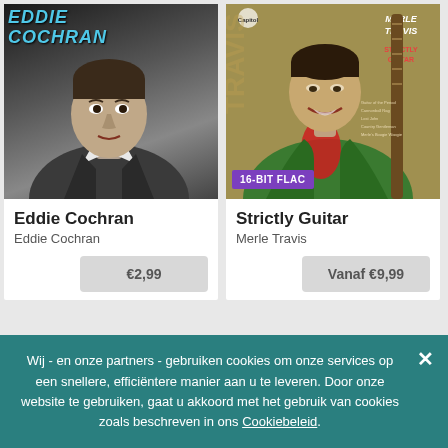[Figure (photo): Album cover for Eddie Cochran - black and white portrait photo of young man in jacket, with 'EDDIE COCHRAN' text at top in teal/blue]
Eddie Cochran
Eddie Cochran
€2,99
[Figure (photo): Album cover for Strictly Guitar by Merle Travis - color photo of man in green and red ornate jacket holding guitar, with '16-BIT FLAC' badge overlay, Capitol Records logo visible]
Strictly Guitar
Merle Travis
Vanaf €9,99
Wij - en onze partners - gebruiken cookies om onze services op een snellere, efficiëntere manier aan u te leveren. Door onze website te gebruiken, gaat u akkoord met het gebruik van cookies zoals beschreven in ons Cookiebeleid.